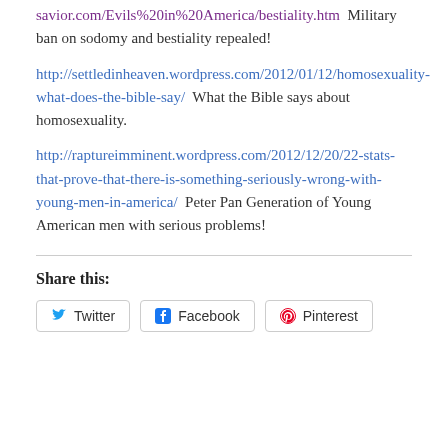savior.com/Evils%20in%20America/bestiality.htm  Military ban on sodomy and bestiality repealed!
http://settledinheaven.wordpress.com/2012/01/12/homosexuality-what-does-the-bible-say/  What the Bible says about homosexuality.
http://raptureimminent.wordpress.com/2012/12/20/22-stats-that-prove-that-there-is-something-seriously-wrong-with-young-men-in-america/  Peter Pan Generation of Young American men with serious problems!
Share this:
Twitter  Facebook  Pinterest